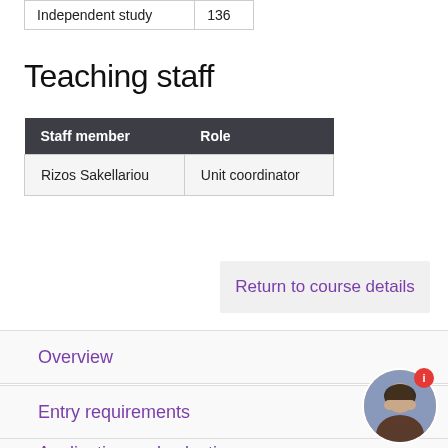| Independent study | 136 |
Teaching staff
| Staff member | Role |
| --- | --- |
| Rizos Sakellariou | Unit coordinator |
Return to course details
Overview
Entry requirements
Application and selection